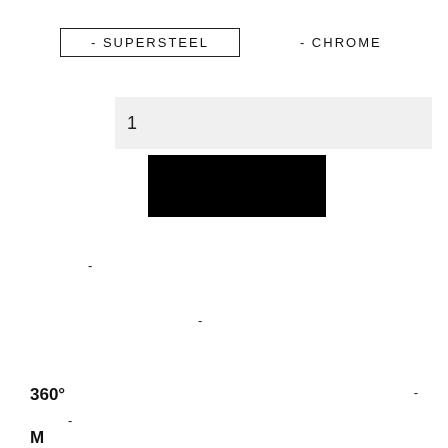- SUPERSTEEL
- CHROME
1
[Figure (other): Black filled rectangle, possibly representing a material or product swatch]
-
-
360°
-
-
M